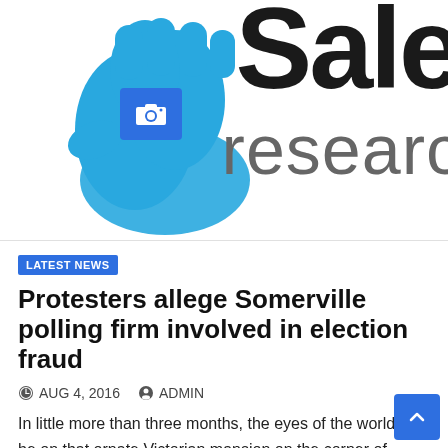[Figure (logo): Partial logo showing a blue hand holding a camera icon with text 'researc' visible — site logo cropped at top of page]
LATEST NEWS
Protesters allege Somerville polling firm involved in election fraud
AUG 4, 2016   ADMIN
In little more than three months, the eyes of the world will be on that ornate Victorian mansion on the corner of Bridge and Cliff streets. That house is the home of…